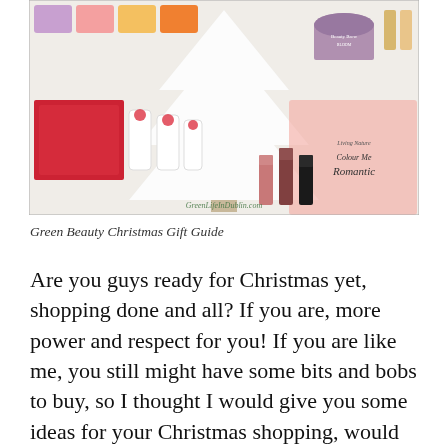[Figure (photo): A collage of green beauty and skincare products arranged around a white flocked Christmas tree, including lipsticks, candles, skincare bottles, and colorful product boxes. A watermark reads 'GreenLifeInDublin.com'.]
Green Beauty Christmas Gift Guide
Are you guys ready for Christmas yet, shopping done and all? If you are, more power and respect for you! If you are like me, you still might have some bits and bobs to buy, so I thought I would give you some ideas for your Christmas shopping, would you like that? The main idea behind my blog is to be helpful to you guys, and what better way than